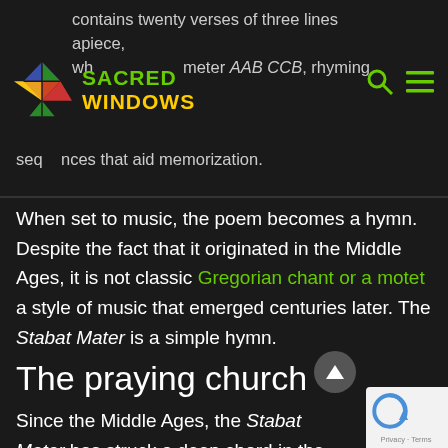contains twenty verses of three lines apiece, which conforms to the meter AAB CCB, rhyming sequences that aid memorization.
[Figure (logo): Sacred Windows logo with colorful diamond/cross shape and green/yellow text reading SACRED WINDOWS]
When set to music, the poem becomes a hymn. Despite the fact that it originated in the Middle Ages, it is not classic Gregorian chant or a motet a style of music that emerged centuries later. The Stabat Mater is a simple hymn.
The praying church
Since the Middle Ages, the Stabat Mater has struck a deep chord in the liturgy and piety of a praying church. Did you know that there are 300 composers who have set the poem to